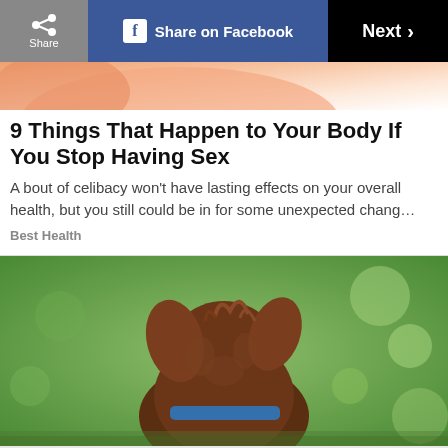Share | Share on Facebook | Next >
[Figure (photo): Top strip of a hero image showing skin tones and peach/orange colors]
9 Things That Happen to Your Body If You Stop Having Sex
A bout of celibacy won't have lasting effects on your overall health, but you still could be in for some unexpected chang…
Best Health
[Figure (photo): A brown curly-haired dog photographed from behind, looking to the right, against a blurred green background. The dog wears a blue collar.]
ADVERTISEMENT
Pop in & Shop New Arrivals
World Market